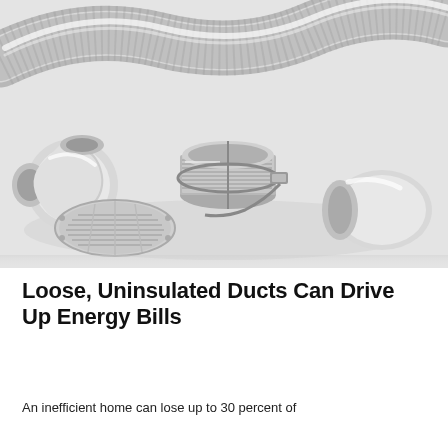[Figure (photo): Black and white photograph of HVAC duct components including a flexible aluminum corrugated duct, white PVC elbow connector, round metal duct collar with hose clamp, a circular vent/grille cover, and a white end cap, all arranged on a light surface.]
Loose, Uninsulated Ducts Can Drive Up Energy Bills
An inefficient home can lose up to 30 percent of